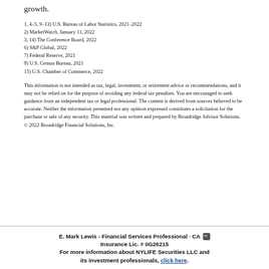growth.
1, 4–5, 9–13) U.S. Bureau of Labor Statistics, 2021–2022
2) MarketWatch, January 11, 2022
3, 14) The Conference Board, 2022
6) S&P Global, 2022
7) Federal Reserve, 2021
8) U.S. Census Bureau, 2021
15) U.S. Chamber of Commerce, 2022
This information is not intended as tax, legal, investment, or retirement advice or recommendations, and it may not be relied on for the purpose of avoiding any federal tax penalties. You are encouraged to seek guidance from an independent tax or legal professional. The content is derived from sources believed to be accurate. Neither the information presented nor any opinion expressed constitutes a solicitation for the purchase or sale of any security. This material was written and prepared by Broadridge Advisor Solutions. © 2022 Broadridge Financial Solutions, Inc.
E. Mark Lewis - Financial Services Professional · CA Insurance Lic. # 0G26215
For more information about NYLIFE Securities LLC and its investment professionals, click here.